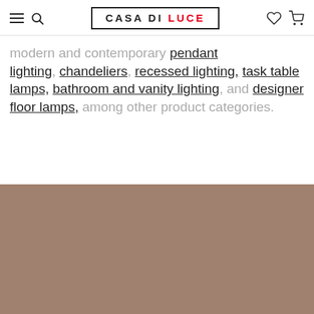CASA DI LUCE
modern and contemporary pendant lighting, chandeliers, recessed lighting, task table lamps, bathroom and vanity lighting, and designer floor lamps, among other product categories.
[Figure (photo): A brownish-taupe colored product image placeholder taking up the bottom portion of the page.]